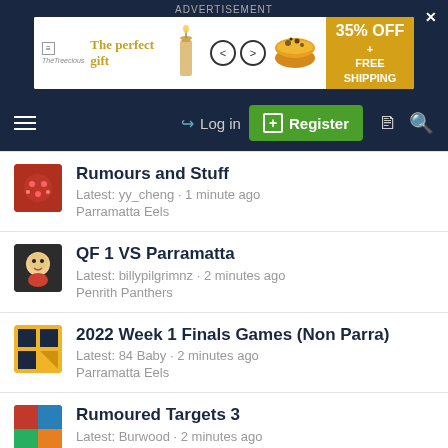ADVERTISEMENT
[Figure (other): Advertisement banner: The perfect gift - 35% OFF + FREE SHIPPING]
Navigation bar with hamburger menu, Log in, Register, and icons
Rumours and Stuff
Latest: yy_cheng · 1 minute ago
Parramatta Eels
QF 1 VS Parramatta
Latest: billypilgrimnz · 2 minutes ago
Penrith Panthers
2022 Week 1 Finals Games (Non Parra)
Latest: 84 Baby · 2 minutes ago
Parramatta Eels
Rumoured Targets 3
Latest: Burwood · 2 minutes ago